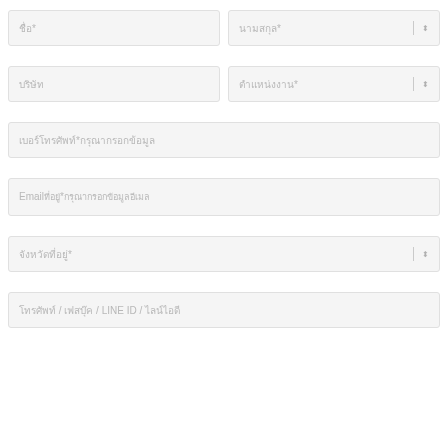ชื่อ*
นามสกุล*
บริษัท
ตำแหน่งงาน*
เบอร์โทรศัพท์*กรุณากรอกข้อมูล
Emailที่อยู่*กรุณากรอกข้อมูลอีเมล
จังหวัดที่อยู่*
โทรศัพท์ / เฟสบุ๊ค / LINE ID / ไลน์ไอดี